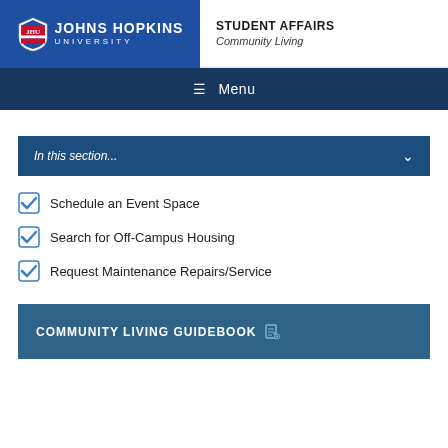JOHNS HOPKINS UNIVERSITY | STUDENT AFFAIRS Community Living
Menu
In this section...
Schedule an Event Space
Search for Off-Campus Housing
Request Maintenance Repairs/Service
COMMUNITY LIVING GUIDEBOOK